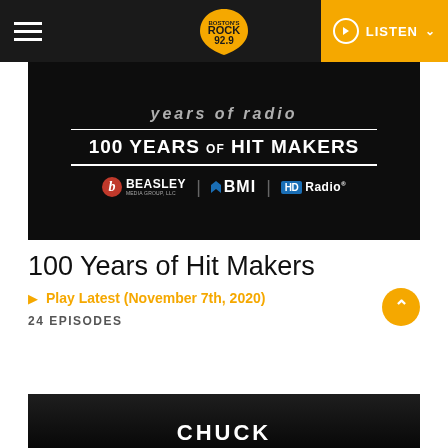ROCK 92.9 | LISTEN
[Figure (photo): Dark banner image showing '100 YEARS OF HIT MAKERS' with Beasley Media Group, BMI, and HD Radio logos on black background]
100 Years of Hit Makers
Play Latest (November 7th, 2020)
24 EPISODES
[Figure (photo): Dark thumbnail image with large white bold text partially visible at the bottom]